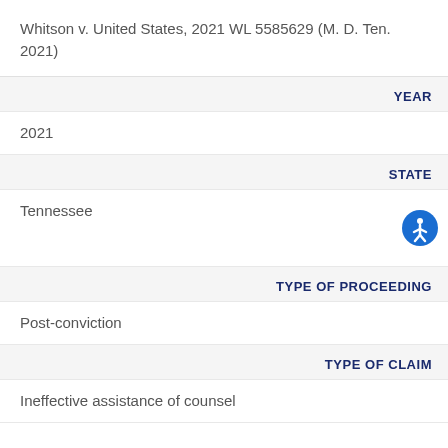Whitson v. United States, 2021 WL 5585629 (M. D. Ten. 2021)
YEAR
2021
STATE
Tennessee
TYPE OF PROCEEDING
Post-conviction
TYPE OF CLAIM
Ineffective assistance of counsel